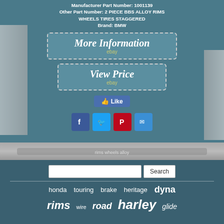Manufacturer Part Number: 1001139
Other Part Number: 2 PIECE BBS ALLOY RIMS WHEELS TIRES STAGGERED
Brand: BMW
[Figure (screenshot): More Information button with dashed border and eBay label]
[Figure (screenshot): View Price button with dashed border and eBay label]
[Figure (screenshot): Facebook Like button]
[Figure (screenshot): Social share icons: Facebook, Twitter, Pinterest, Email]
[Figure (photo): Photo strip of alloy rims/wheels]
[Figure (screenshot): Search bar with Search button]
honda   touring   brake   heritage   dyna
rims   wire   road   harley   glide